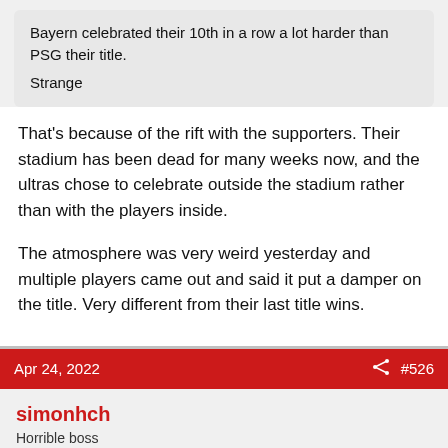Bayern celebrated their 10th in a row a lot harder than PSG their title. Strange
That's because of the rift with the supporters. Their stadium has been dead for many weeks now, and the ultras chose to celebrate outside the stadium rather than with the players inside.
The atmosphere was very weird yesterday and multiple players came out and said it put a damper on the title. Very different from their last title wins.
Apr 24, 2022  #526
simonhch
Horrible boss
Supports: Urban Combat Preparedness